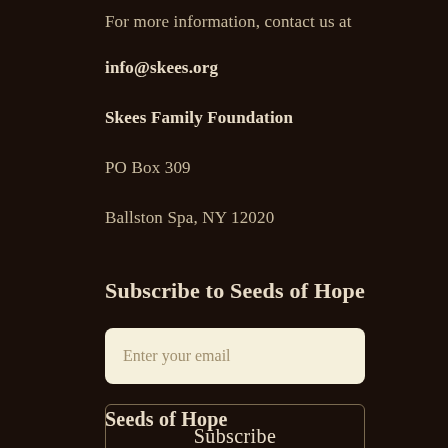For more information, contact us at
info@skees.org
Skees Family Foundation
PO Box 309
Ballston Spa, NY 12020
Subscribe to Seeds of Hope
Enter your email
Subscribe
Seeds of Hope